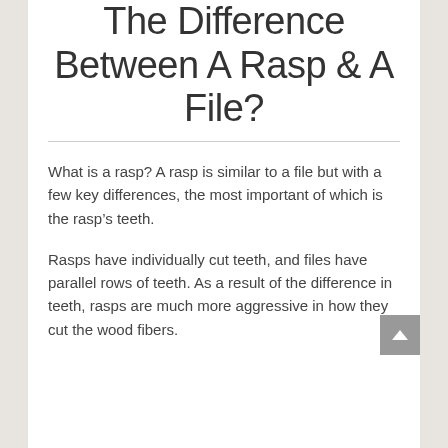The Difference Between A Rasp & A File?
What is a rasp? A rasp is similar to a file but with a few key differences, the most important of which is the rasp’s teeth.
Rasps have individually cut teeth, and files have parallel rows of teeth. As a result of the difference in teeth, rasps are much more aggressive in how they cut the wood fibers.